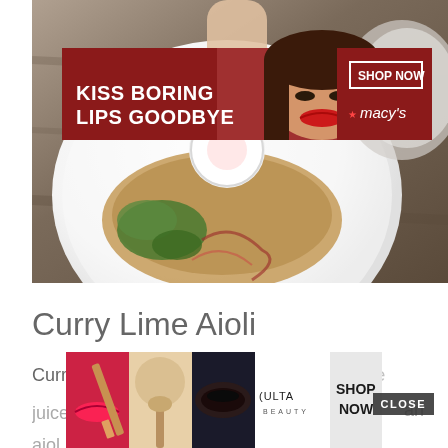[Figure (photo): Food photo showing a white plate with curry dish, garnished with radish slices, greens, and sauce drizzle. A hand is reaching in from the top. A Macy's banner ad overlays the top portion: 'KISS BORING LIPS GOODBYE' with a woman model wearing red lipstick and 'SHOP NOW / Macy's' on the right.]
Curry Lime Aioli
Curry lime aioli is made by adding fresh lime juice
[Figure (photo): Ulta Beauty advertisement banner at bottom showing beauty product images: red lips with makeup brush, powder brush, eye makeup, Ulta logo, eye close-up shots, and 'SHOP NOW' button. A CLOSE button appears overlaid on the text above.]